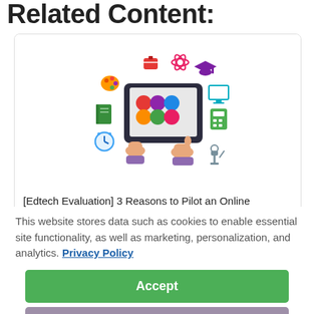Related Content:
[Figure (illustration): Illustration of hands holding a tablet with colorful education icons (palette, briefcase, atom, graduation cap, book, clock, calculator, microscope, computer monitor) floating around it.]
[Edtech Evaluation] 3 Reasons to Pilot an Online Program before Purchasing
This website stores data such as cookies to enable essential site functionality, as well as marketing, personalization, and analytics. Privacy Policy
Accept
Deny